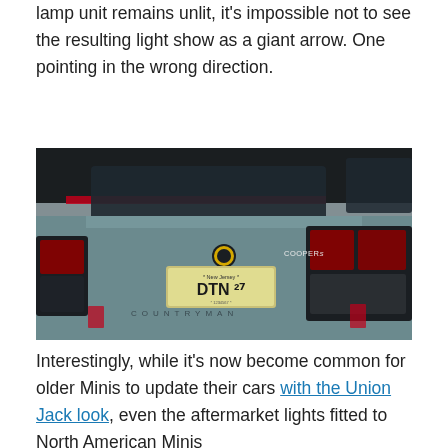lamp unit remains unlit, it's impossible not to see the resulting light show as a giant arrow. One pointing in the wrong direction.
[Figure (photo): Rear view of a steel blue MINI Cooper S Countryman with New Jersey license plate DTN 27, showing taillights and COUNTRYMAN lettering across the lower back, parked against a concrete wall.]
Interestingly, while it's now become common for older Minis to update their cars with the Union Jack look, even the aftermarket lights fitted to North American Minis